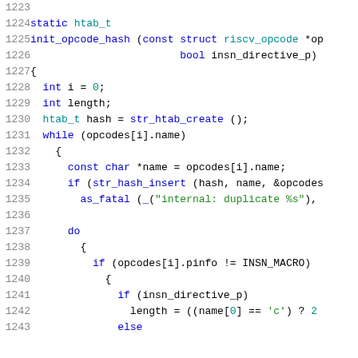[Figure (screenshot): Source code listing in C showing lines 1223-1243 of a RISC-V opcode hash initialization function. Dark-background code editor style with syntax highlighting: keywords in blue, strings in green, line numbers in gray.]